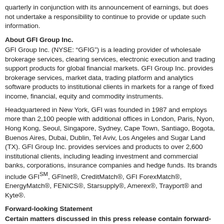quarterly in conjunction with its announcement of earnings, but does not undertake a responsibility to continue to provide or update such information.
About GFI Group Inc.
GFI Group Inc. (NYSE: “GFIG”) is a leading provider of wholesale brokerage services, clearing services, electronic execution and trading support products for global financial markets. GFI Group Inc. provides brokerage services, market data, trading platform and analytics software products to institutional clients in markets for a range of fixed income, financial, equity and commodity instruments.
Headquartered in New York, GFI was founded in 1987 and employs more than 2,100 people with additional offices in London, Paris, Nyon, Hong Kong, Seoul, Singapore, Sydney, Cape Town, Santiago, Bogota, Buenos Aires, Dubai, Dublin, Tel Aviv, Los Angeles and Sugar Land (TX). GFI Group Inc. provides services and products to over 2,600 institutional clients, including leading investment and commercial banks, corporations, insurance companies and hedge funds. Its brands include GFI℠, GFInet®, CreditMatch®, GFI ForexMatch®, EnergyMatch®, FENICS®, Starsupply®, Amerex®, Trayport® and Kyte®.
Forward-looking Statement
Certain matters discussed in this press release contain forward-looking statements within the meaning of the Private Securities Litigation Reform Act of 1995. When used in this press release, the words “anticipate,” “believe,” “estimate,” “may,” “might,” “intend,” “expect” and similar expressions identify such forward-looking statements. Actual results, performance or achievements could differ materially